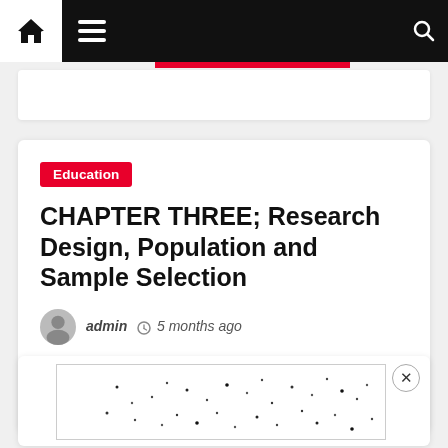Navigation bar with home, menu, and search icons
Education
CHAPTER THREE; Research Design, Population and Sample Selection
admin  5 months ago
[Figure (continuous-plot): Scatter-like dot plot partially visible at the bottom of the page, showing scattered small dots on a white background within a bordered panel with a close (X) button.]